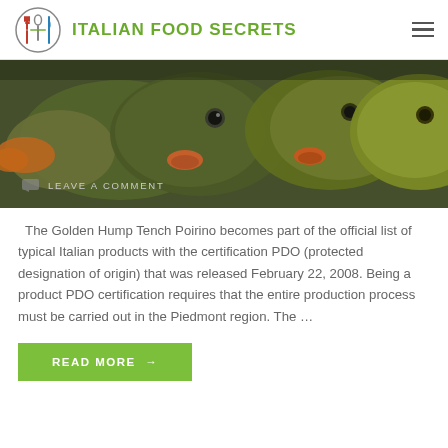ITALIAN FOOD SECRETS
[Figure (photo): Close-up photo of several tench fish (golden hump tench) with olive-green and yellow coloring, orange mouths visible, densely packed together. Text overlay at bottom left reads 'LEAVE A COMMENT'.]
The Golden Hump Tench Poirino becomes part of the official list of typical Italian products with the certification PDO (protected designation of origin) that was released February 22, 2008. Being a product PDO certification requires that the entire production process must be carried out in the Piedmont region. The …